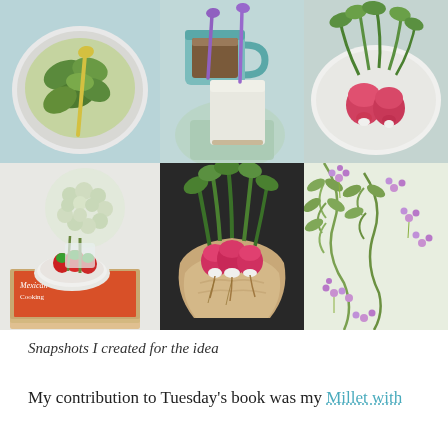[Figure (photo): A 2x3 grid of food and nature photographs: top row shows a bowl of greens with a yellow spoon, a teal mug with cake and purple spoon, and radishes on a white plate; bottom row shows hydrangea flowers with a bowl of strawberries on magazines, hands holding fresh radishes with roots, and purple wildflowers.]
Snapshots I created for the idea
My contribution to Tuesday's book was my Millet with